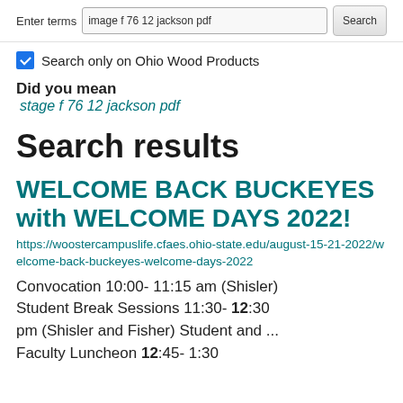Enter terms  image f 76 12 jackson pdf  Search
Search only on Ohio Wood Products
Did you mean
stage f 76 12 jackson pdf
Search results
WELCOME BACK BUCKEYES with WELCOME DAYS 2022!
https://woostercampuslife.cfaes.ohio-state.edu/august-15-21-2022/welcome-back-buckeyes-welcome-days-2022
Convocation 10:00- 11:15 am (Shisler) Student Break Sessions 11:30- 12:30 pm (Shisler and Fisher) Student and ... Faculty Luncheon 12:45- 1:30